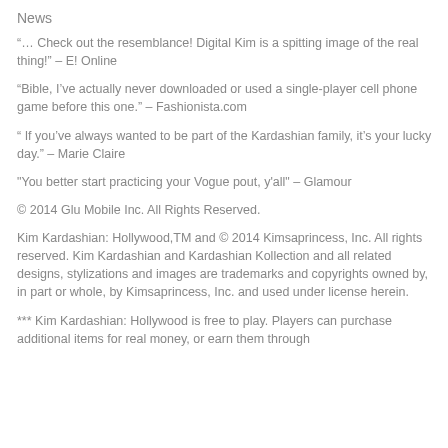News
“… Check out the resemblance! Digital Kim is a spitting image of the real thing!” – E! Online
“Bible, I’ve actually never downloaded or used a single-player cell phone game before this one.” – Fashionista.com
“ If you’ve always wanted to be part of the Kardashian family, it’s your lucky day.” – Marie Claire
"You better start practicing your Vogue pout, y'all" – Glamour
© 2014 Glu Mobile Inc. All Rights Reserved.
Kim Kardashian: Hollywood,TM and © 2014 Kimsaprincess, Inc. All rights reserved. Kim Kardashian and Kardashian Kollection and all related designs, stylizations and images are trademarks and copyrights owned by, in part or whole, by Kimsaprincess, Inc. and used under license herein.
*** Kim Kardashian: Hollywood is free to play. Players can purchase additional items for real money, or earn them through